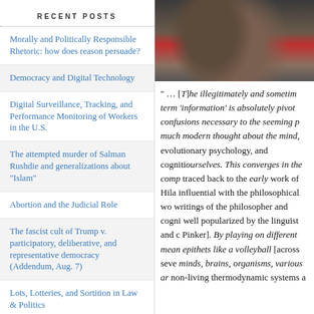RECENT POSTS
Morally and Politically Responsible Rhetoric: how does reason persuade?
Democracy and Digital Technology
Digital Surveillance, Tracking, and Performance Monitoring of Workers in the U.S.
The attempted murder of Salman Rushdie and generalizations about "Islam"
Abortion and the Judicial Role
The fascist cult of Trump v. participatory, deliberative, and representative democracy (Addendum, Aug. 7)
Lots, Lotteries, and Sortition in Law & Politics
[Figure (photo): Photograph of a person wearing a grey jacket with red visible in the background]
" … [T]he illegitimately and sometim term 'information' is absolutely pivot confusions necessary to the seeming p much modern thought about the mind, evolutionary psychology, and cogniti ourselves. This converges in the comp traced back to the early work of Hila influential with the philosophical wo writings of the philosopher and cogni well popularized by the linguist and c Pinker]. By playing on different mean epithets like a volleyball [across seve minds, brains, organisms, various ar non-living thermodynamic systems a